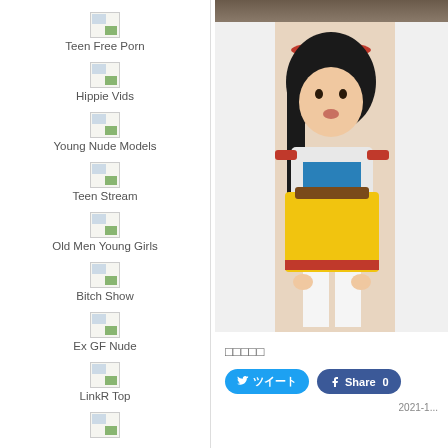Teen Free Porn
Hippie Vids
Young Nude Models
Teen Stream
Old Men Young Girls
Bitch Show
Ex GF Nude
LinkR Top
[Figure (photo): Photo of a woman in a costume (Snow White style), dark hair with red bow headband, white and yellow outfit]
□□□□□
ツイート  Share 0
2021-1...